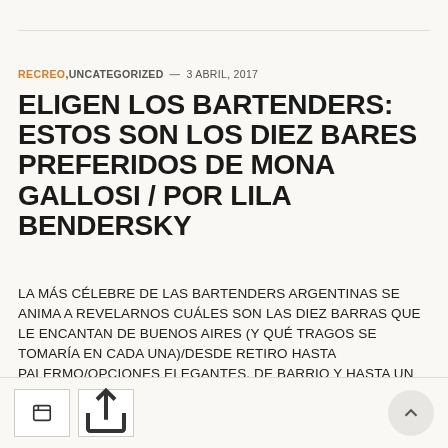RECREO, UNCATEGORIZED — 3 ABRIL, 2017
ELIGEN LOS BARTENDERS: ESTOS SON LOS DIEZ BARES PREFERIDOS DE MONA GALLOSI / POR LILA BENDERSKY
LA MÁS CÉLEBRE DE LAS BARTENDERS ARGENTINAS SE ANIMA A REVELARNOS CUÁLES SON LAS DIEZ BARRAS QUE LE ENCANTAN DE BUENOS AIRES (Y QUÉ TRAGOS SE TOMARÍA EN CADA UNA)/DESDE RETIRO HASTA PALERMO/OPCIONES ELEGANTES, DE BARRIO Y HASTA UN RESTAURANTE PERUANO